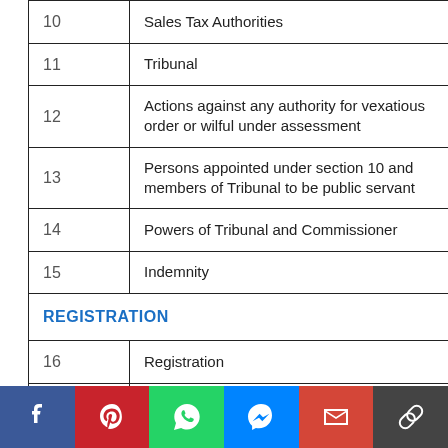| No. | Description |
| --- | --- |
| 10 | Sales Tax Authorities |
| 11 | Tribunal |
| 12 | Actions against any authority for vexatious order or wilful under assessment |
| 13 | Persons appointed under section 10 and members of Tribunal to be public servant |
| 14 | Powers of Tribunal and Commissioner |
| 15 | Indemnity |
| REGISTRATION |  |
| 16 | Registration |
| 17 | ... |